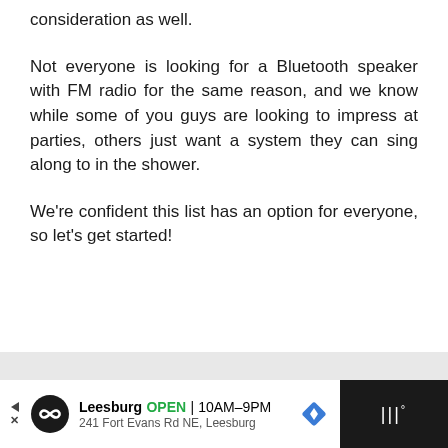consideration as well.
Not everyone is looking for a Bluetooth speaker with FM radio for the same reason, and we know while some of you guys are looking to impress at parties, others just want a system they can sing along to in the shower.
We're confident this list has an option for everyone, so let's get started!
[Figure (other): Advertisement bar at bottom: Leesburg business ad showing logo, OPEN status, hours 10AM-9PM, address 241 Fort Evans Rd NE, Leesburg, with navigation arrow icon on dark background]